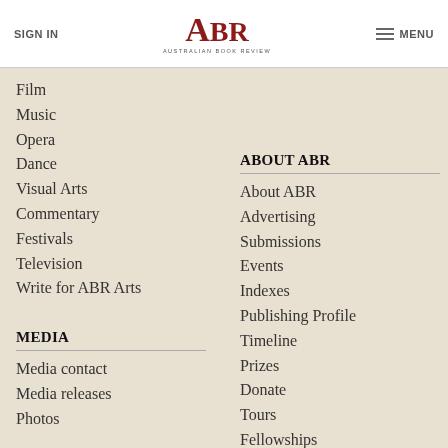SIGN IN | ABR Australian Book Review | MENU
Film
Music
Opera
Dance
Visual Arts
Commentary
Festivals
Television
Write for ABR Arts
MEDIA
Media contact
Media releases
Photos
ABOUT ABR
About ABR
Advertising
Submissions
Events
Indexes
Publishing Profile
Timeline
Prizes
Donate
Tours
Fellowships
Patrons Program